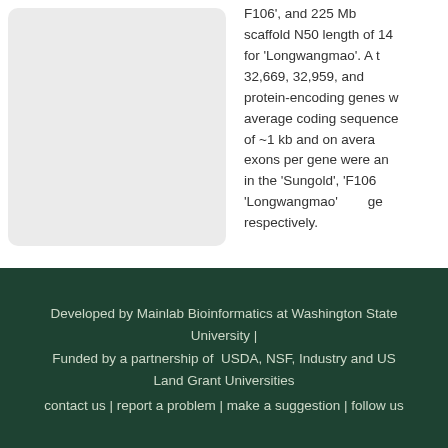[Figure (other): Gray rounded rectangle placeholder image panel on left side]
F106', and 225 Mb scaffold N50 length of 14 for 'Longwangmao'. A t 32,669, 32,959, and protein-encoding genes w average coding sequence of ~1 kb and on avera exons per gene were an in the 'Sungold', 'F106 'Longwangmao' ge respectively.
Developed by Mainlab Bioinformatics at Washington State University | Funded by a partnership of USDA, NSF, Industry and US Land Grant Universities contact us | report a problem | make a suggestion | follow us